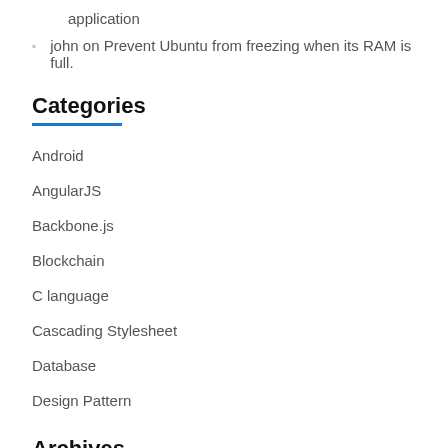application
john on Prevent Ubuntu from freezing when its RAM is full.
Categories
Android
AngularJS
Backbone.js
Blockchain
C language
Cascading Stylesheet
Database
Design Pattern
Archives